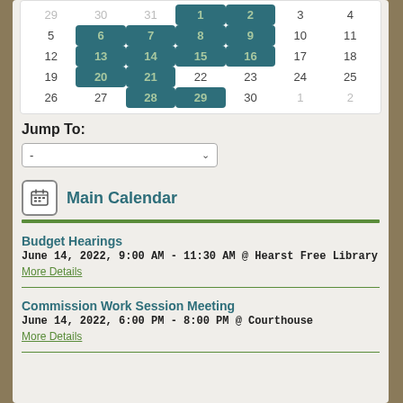[Figure (other): Monthly calendar grid showing June 2022. Highlighted dates (with teal background): 1, 2, 6, 7, 8, 9, 13, 14, 15, 16, 20, 21, 28, 29. Regular dates: 5, 10, 11, 12, 17, 18, 19, 22, 23, 24, 25, 26, 27, 30. Muted (greyed out): 1, 2 at end. Previous month shown: 29, 30, 31.]
Jump To:
-
Main Calendar
Budget Hearings
June 14, 2022, 9:00 AM - 11:30 AM  @ Hearst Free Library
More Details
Commission Work Session Meeting
June 14, 2022, 6:00 PM - 8:00 PM  @ Courthouse
More Details